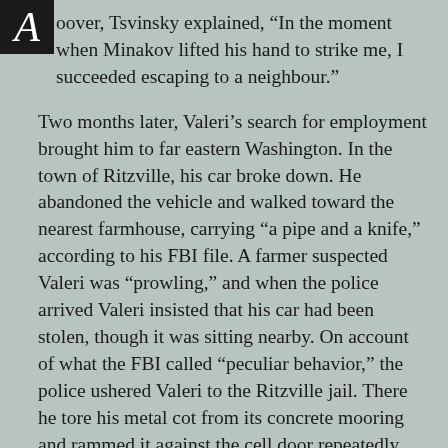oover, Tsvinsky explained, “In the moment when Minakov lifted his hand to strike me, I succeeded escaping to a neighbour.”
Two months later, Valeri’s search for employment brought him to far eastern Washington. In the town of Ritzville, his car broke down. He abandoned the vehicle and walked toward the nearest farmhouse, carrying “a pipe and a knife,” according to his FBI file. A farmer suspected Valeri was “prowling,” and when the police arrived Valeri insisted that his car had been stolen, though it was sitting nearby. On account of what the FBI called “peculiar behavior,” the police ushered Valeri to the Ritzville jail. There he tore his metal cot from its concrete mooring and rammed it against the cell door repeatedly. He threatened to kill his jailers, and “it took several attendants to subdue him,” according to a record of